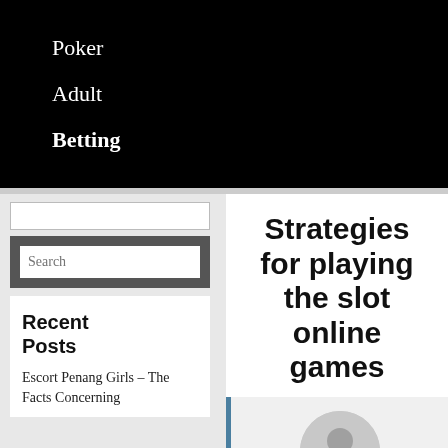Poker
Adult
Betting
[Figure (other): Search input bar (empty white rectangle)]
[Figure (other): Search widget with gray background and text input showing 'Search']
Recent Posts
Escort Penang Girls – The Facts Concerning
Strategies for playing the slot online games
[Figure (other): Author avatar — gray circle with white person silhouette icon]
Benjamin
September 23, 2020